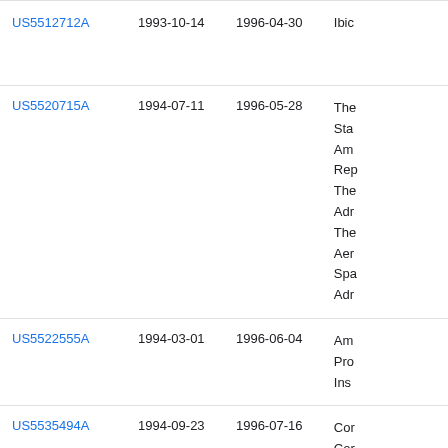| Patent | Filing Date | Publication Date | Assignee |
| --- | --- | --- | --- |
| US5512712A | 1993-10-14 | 1996-04-30 | Ibic… |
| US5520715A | 1994-07-11 | 1996-05-28 | The Sta Am Rep The Adr The Aer Spa Adr… |
| US5522555A | 1994-03-01 | 1996-06-04 | Am Pro Ins… |
| US5535494A | 1994-09-23 | 1996-07-16 | Cor Cor Cor… |
| US5541625A | 1993-05-03 | 1996-07-30 | He Cor… |